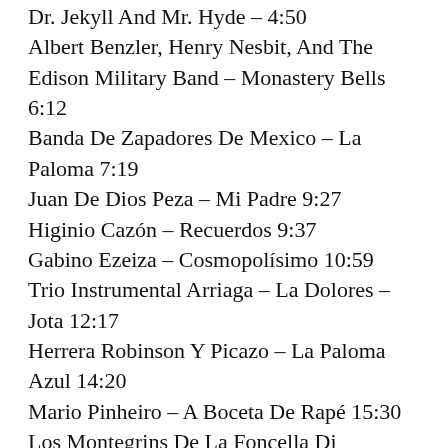Dr. Jekyll And Mr. Hyde – 4:50
Albert Benzler, Henry Nesbit, And The Edison Military Band – Monastery Bells 6:12
Banda De Zapadores De Mexico – La Paloma 7:19
Juan De Dios Peza – Mi Padre 9:27
Higinio Cazón – Recuerdos 9:37
Gabino Ezeiza – Cosmopolísimo 10:59
Trio Instrumental Arriaga – La Dolores – Jota 12:17
Herrera Robinson Y Picazo – La Paloma Azul 14:20
Mario Pinheiro – A Boceta De Rapé 15:30
Los Montegrins De La Foncella Di Montegri – Queen Of The Flowers 18:47
Unknown Performer – I Lamenti De Un Venditore Di Giornali 20:41